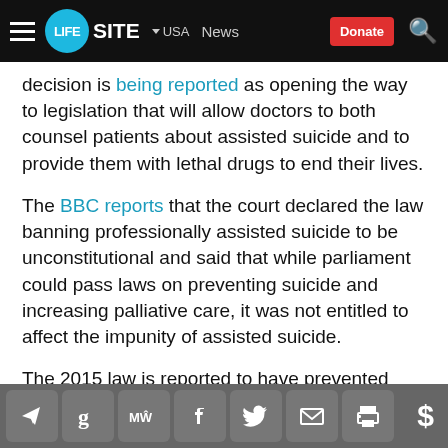LIFESITE | USA | News | Donate
decision is being reported as opening the way to legislation that will allow doctors to both counsel patients about assisted suicide and to provide them with lethal drugs to end their lives.
The BBC reports that the court declared the law banning professionally assisted suicide to be unconstitutional and said that while parliament could pass laws on preventing suicide and increasing palliative care, it was not entitled to affect the impunity of assisted suicide.
The 2015 law is reported to have prevented individuals and organizations in Germany who until then had professionally facilitated assisted suicide
Share icons: Telegram, Google, MeWe, Facebook, Twitter, Email, Print | Donate $